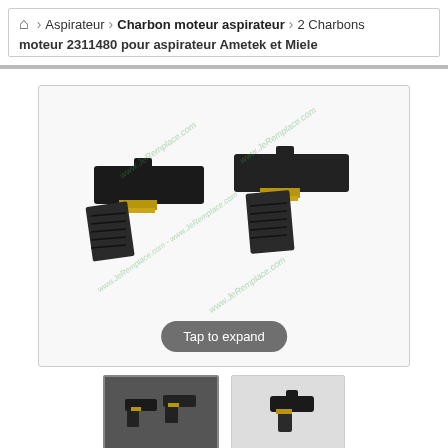🏠 Aspirateur › Charbon moteur aspirateur › 2 Charbons moteur 2311480 pour aspirateur Ametek et Miele
[Figure (photo): Two carbon motor brushes with gold/brass spring clips, dark grey/black carbon blocks, shown side by side on white background with JeRemplace.com watermarks. A 'Tap to expand' button overlay is shown at the bottom.]
[Figure (photo): Thumbnail 1: Two carbon brushes from front angle, dark background]
[Figure (photo): Thumbnail 2: Single carbon brush close-up, light background]